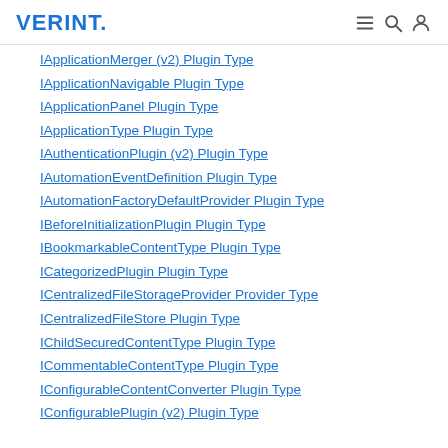VERINT.
IApplicationMerger (v2) Plugin Type
IApplicationNavigable Plugin Type
IApplicationPanel Plugin Type
IApplicationType Plugin Type
IAuthenticationPlugin (v2) Plugin Type
IAutomationEventDefinition Plugin Type
IAutomationFactoryDefaultProvider Plugin Type
IBeforeInitializationPlugin Plugin Type
IBookmarkableContentType Plugin Type
ICategorizedPlugin Plugin Type
ICentralizedFileStorageProvider Provider Type
ICentralizedFileStore Plugin Type
IChildSecuredContentType Plugin Type
ICommentableContentType Plugin Type
IConfigurableContentConverter Plugin Type
IConfigurablePlugin (v2) Plugin Type